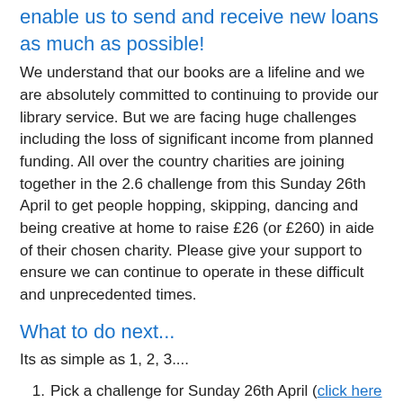enable us to send and receive new loans as much as possible!
We understand that our books are a lifeline and we are absolutely committed to continuing to provide our library service. But we are facing huge challenges including the loss of significant income from planned funding. All over the country charities are joining together in the 2.6 challenge from this Sunday 26th April to get people hopping, skipping, dancing and being creative at home to raise £26 (or £260) in aide of their chosen charity. Please give your support to ensure we can continue to operate in these difficult and unprecedented times.
What to do next...
Its as simple as 1, 2, 3....
Pick a challenge for Sunday 26th April (click here for lots of ideas and to download your family activity pack)